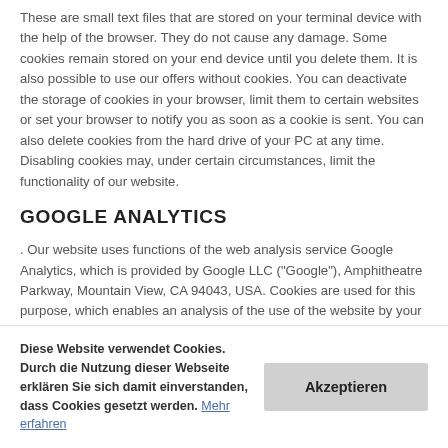These are small text files that are stored on your terminal device with the help of the browser. They do not cause any damage. Some cookies remain stored on your end device until you delete them. It is also possible to use our offers without cookies. You can deactivate the storage of cookies in your browser, limit them to certain websites or set your browser to notify you as soon as a cookie is sent. You can also delete cookies from the hard drive of your PC at any time. Disabling cookies may, under certain circumstances, limit the functionality of our website.
GOOGLE ANALYTICS
. Our website uses functions of the web analysis service Google Analytics, which is provided by Google LLC ("Google"), Amphitheatre Parkway, Mountain View, CA 94043, USA. Cookies are used for this purpose, which enables an analysis of the use of the website by your users. The information thus generated is transferred to the provider's server and stored there. We have concluded a corresponding contract for order data processing with the provider. For this web analytics service, we have a
Diese Website verwendet Cookies. Durch die Nutzung dieser Webseite erklären Sie sich damit einverstanden, dass Cookies gesetzt werden. Mehr erfahren